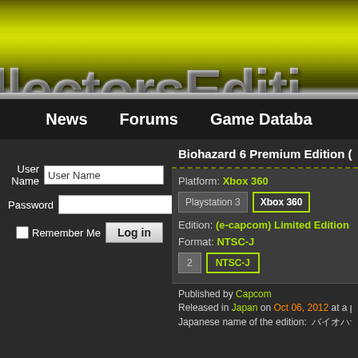llectorsEditi
News   Forums   Game Databa
User Name | Password | Remember Me | Log in
Biohazard 6 Premium Edition (
Platform: Xbox 360
Playstation 3   Xbox 360
Edition: (e-capcom) Limited Edition
Format: NTSC-J
2   NTSC-J
Published by Capcom
Released in Japan on Oct 06, 2012 at a price of ¥1
Japanese name of the edition: バイオハザード6 PREMIUM E